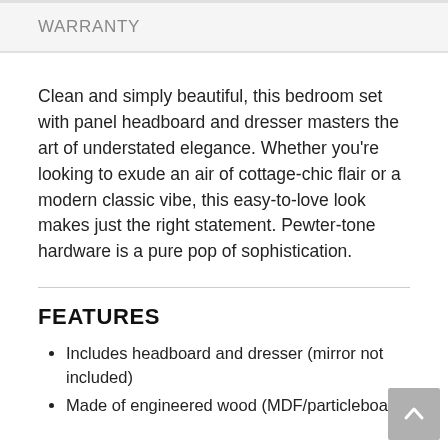WARRANTY
Clean and simply beautiful, this bedroom set with panel headboard and dresser masters the art of understated elegance. Whether you're looking to exude an air of cottage-chic flair or a modern classic vibe, this easy-to-love look makes just the right statement. Pewter-tone hardware is a pure pop of sophistication.
FEATURES
Includes headboard and dresser (mirror not included)
Made of engineered wood (MDF/particleboard)